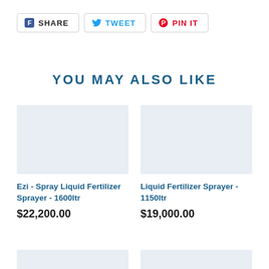[Figure (other): Social share buttons: Facebook SHARE, Twitter TWEET, Pinterest PIN IT]
YOU MAY ALSO LIKE
[Figure (photo): Product image placeholder for Ezi - Spray Liquid Fertilizer Sprayer - 1600ltr]
Ezi - Spray Liquid Fertilizer Sprayer - 1600ltr
$22,200.00
[Figure (photo): Product image placeholder for Liquid Fertilizer Sprayer - 1150ltr]
Liquid Fertilizer Sprayer - 1150ltr
$19,000.00